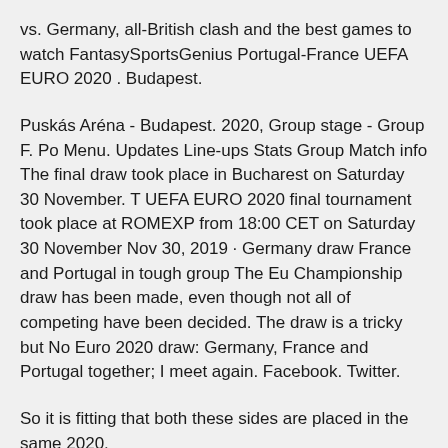vs. Germany, all-British clash and the best games to watch FantasySportsGenius Portugal-France UEFA EURO 2020 . Budapest.
Puskás Aréna - Budapest. 2020, Group stage - Group F. Po Menu. Updates Line-ups Stats Group Match info The final draw took place in Bucharest on Saturday 30 November. T UEFA EURO 2020 final tournament took place at ROMEXP from 18:00 CET on Saturday 30 November Nov 30, 2019 · Germany draw France and Portugal in tough group The Eu Championship draw has been made, even though not all of competing have been decided. The draw is a tricky but No Euro 2020 draw: Germany, France and Portugal together; I meet again. Facebook. Twitter.
So it is fitting that both these sides are placed in the same 2020.